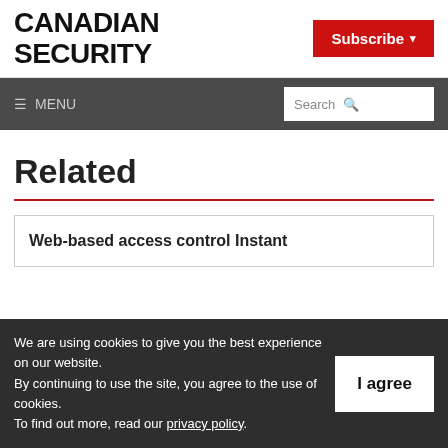CANADIAN SECURITY
Subscribe
≡ MENU  Search
Related
Web-based access control Instant
We are using cookies to give you the best experience on our website. By continuing to use the site, you agree to the use of cookies. To find out more, read our privacy policy.
I agree